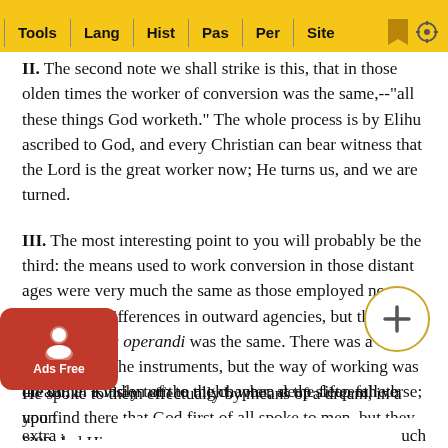Tools | Lang | Hist | Pas | Per | Site
II. The second note we shall strike is this, that in those olden times the worker of conversion was the same,--"all these things God worketh." The whole process is by Elihu ascribed to God, and every Christian can bear witness that the Lord is the great worker now; He turns us, and we are turned.
III. The most interesting point to you will probably be the third: the means used to work conversion in those distant ages were very much the same as those employed now. There were differences in outward agencies, but the inward modus operandi was the same. There was a difference in the instruments, but the way of working was the same. Kindly turn to the chapter, at the fifteenth verse; you find there that God first of all spoke to men, but they regarded Him n... He spoke to them effectually by means of a dream, in a dream, in a vision of the night, when deep sleep falleth upon men, i...
extra...                                                                                    uch